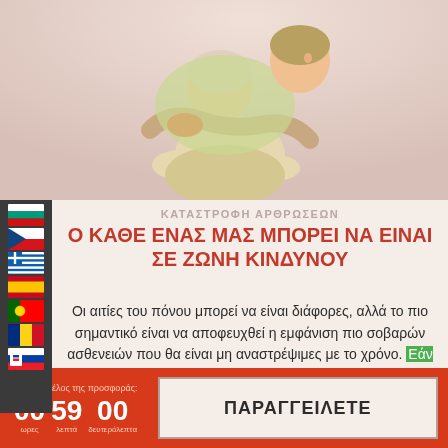[Figure (photo): Two women hugging and smiling, one older woman being embraced from behind by a younger woman, on a light pinkish-beige background]
[Figure (infographic): Vertical panel of country flag icons (Bulgaria, Czech Republic, Greece, Spain, Portugal, Romania, Slovakia) on dark background]
ΚΑΤΑΣΤΡΟΦΗ ΑΡΘΡΩΣΕΩΝ
Ο ΚΑΘΕ ΕΝΑΣ ΜΑΣ ΜΠΟΡΕΙ ΝΑ ΕΙΝΑΙ ΣΕ ΖΩΝΗ ΚΙΝΔΥΝΟΥ
Οι αιτίες του πόνου μπορεί να είναι διάφορες, αλλά το πιο σημαντικό είναι να αποφευχθεί η εμφάνιση πιο σοβαρών ασθενειών που θα είναι μη αναστρέψιμες με το χρόνο. Εάν ένα από
μέχρι το τέλος της προσφοράς:
00 ωρες  59 λεπτά  00 δευτερόλεπτα
ΠΑΡΑΓΓΕΙΛΕΤΕ